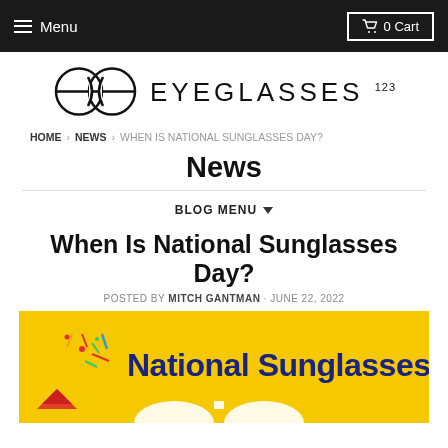Menu  0 Cart
[Figure (logo): Eyeglasses123 logo with two overlapping circles and text EYEGLASSES 123]
HOME › NEWS › WHEN IS NATIONAL SUNGLASSES DAY?
News
BLOG MENU ▼
When Is National Sunglasses Day?
POSTED BY MITCH GANTMAN · JUNE 22, 2022
[Figure (photo): Yellow background promotional image with text 'National Sunglasses Day' in dark blue bold font, with party confetti decoration on the left and partial sunglasses image at bottom]